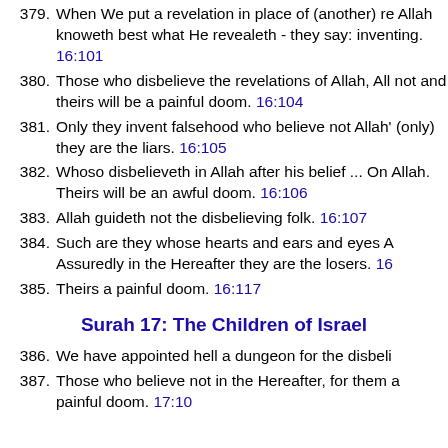379. When We put a revelation in place of (another) revelation - and Allah knoweth best what He revealeth - they say: Lo! thou art but inventing. 16:101
380. Those who disbelieve the revelations of Allah, Allah guideth them not and theirs will be a painful doom. 16:104
381. Only they invent falsehood who believe not Allah's revelations, and (only) they are the liars. 16:105
382. Whoso disbelieveth in Allah after his belief ... On them is wrath from Allah. Theirs will be an awful doom. 16:106
383. Allah guideth not the disbelieving folk. 16:107
384. Such are they whose hearts and ears and eyes Allah hath sealed. Assuredly in the Hereafter they are the losers. 16:...
385. Theirs a painful doom. 16:117
Surah 17: The Children of Israel
386. We have appointed hell a dungeon for the disbelievers.
387. Those who believe not in the Hereafter, for them We have prepared a painful doom. 17:10